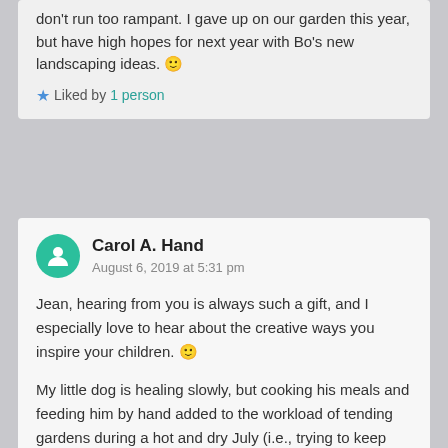don't run too rampant. I gave up on our garden this year, but have high hopes for next year with Bo's new landscaping ideas. 🙂
★ Liked by 1 person
Carol A. Hand
August 6, 2019 at 5:31 pm
Jean, hearing from you is always such a gift, and I especially love to hear about the creative ways you inspire your children. 🙂
My little dog is healing slowly, but cooking his meals and feeding him by hand added to the workload of tending gardens during a hot and dry July (i.e., trying to keep plants alive). It left me feeling overloaded with little time and energy for blogging. I look forward to seeing Bo's landscaping ideas in action next year!